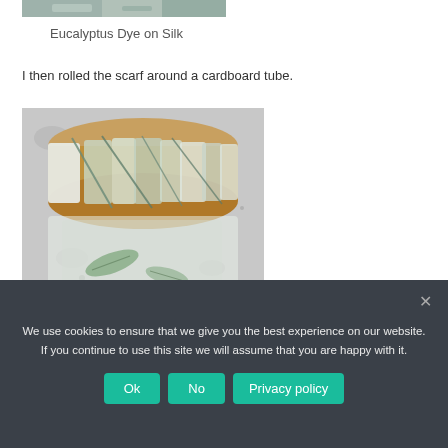[Figure (photo): Partial view of eucalyptus dye on silk fabric, cropped top portion showing textured green and white material]
Eucalyptus Dye on Silk
I then rolled the scarf around a cardboard tube.
[Figure (photo): Photo of a silk scarf rolled around a cardboard tube with eucalyptus leaves visible, placed on a granite countertop with plastic wrap and leaves nearby]
We use cookies to ensure that we give you the best experience on our website. If you continue to use this site we will assume that you are happy with it.